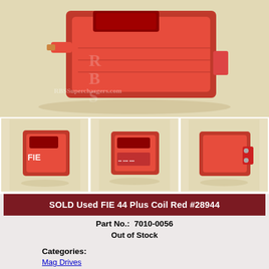[Figure (photo): Large photo of a red FIE 44 Plus coil (ignition component) on a beige/cream background with RBSSuperchargers.com watermark]
[Figure (photo): Thumbnail photo 1: front view of red FIE coil]
[Figure (photo): Thumbnail photo 2: top/angled view of red FIE coil with label visible]
[Figure (photo): Thumbnail photo 3: side view of red FIE coil]
SOLD Used FIE 44 Plus Coil Red #28944
Part No.:  7010-0056
Out of Stock
Categories:
Mag Drives
Previously Owned
Mags & Coils